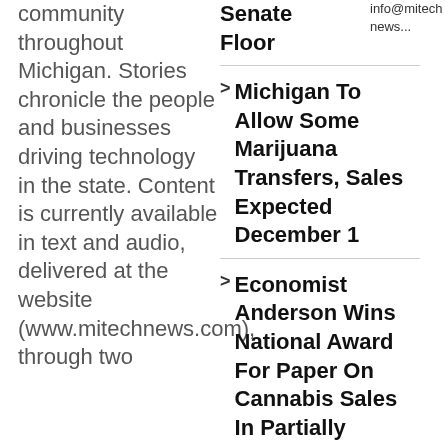community throughout Michigan. Stories chronicle the people and businesses driving technology in the state. Content is currently available in text and audio, delivered at the website (www.mitechnews.com), through two
Michigan To Allow Some Marijuana Transfers, Sales Expected December 1
Economist Anderson Wins National Award For Paper On Cannabis Sales In Partially
info@mitechnews...